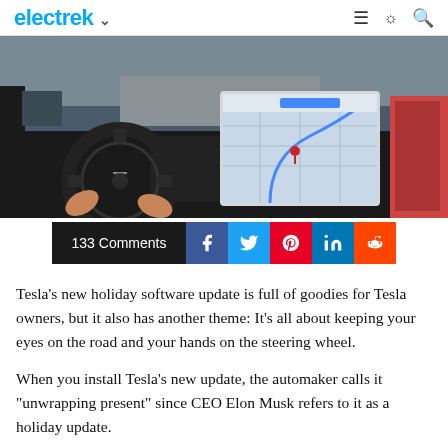electrek
[Figure (photo): Tesla Model 3 interior showing driver hands on steering wheel and large center touchscreen displaying navigation map]
133 Comments
Tesla's new holiday software update is full of goodies for Tesla owners, but it also has another theme: It's all about keeping your eyes on the road and your hands on the steering wheel.
When you install Tesla's new update, the automaker calls it "unwrapping present" since CEO Elon Musk refers to it as a holiday update.
It's a festive update with two new video games and the TRAX